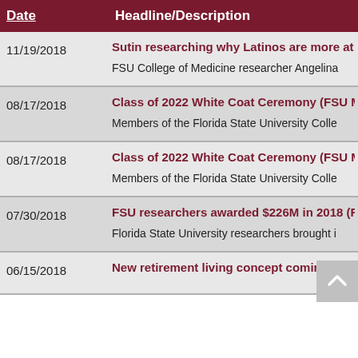| Date | Headline/Description |
| --- | --- |
| 11/19/2018 | Sutin researching why Latinos are more at...
FSU College of Medicine researcher Angelina... |
| 08/17/2018 | Class of 2022 White Coat Ceremony (FSU M...
Members of the Florida State University Colle... |
| 08/17/2018 | Class of 2022 White Coat Ceremony (FSU M...
Members of the Florida State University Colle... |
| 07/30/2018 | FSU researchers awarded $226M in 2018 (F...
Florida State University researchers brought i... |
| 06/15/2018 | New retirement living concept coming to T... |